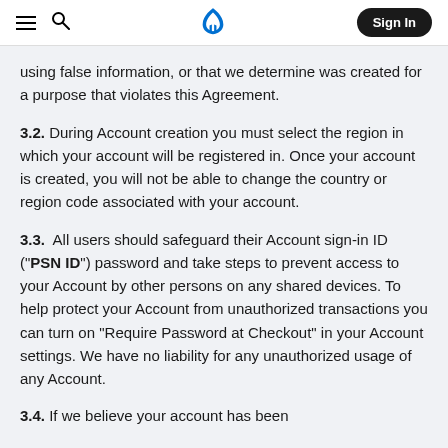PlayStation Network Terms of Service
using false information, or that we determine was created for a purpose that violates this Agreement.
3.2. During Account creation you must select the region in which your account will be registered in. Once your account is created, you will not be able to change the country or region code associated with your account.
3.3. All users should safeguard their Account sign-in ID (“PSN ID”) password and take steps to prevent access to your Account by other persons on any shared devices. To help protect your Account from unauthorized transactions you can turn on “Require Password at Checkout” in your Account settings. We have no liability for any unauthorized usage of any Account.
3.4. If we believe your account has been